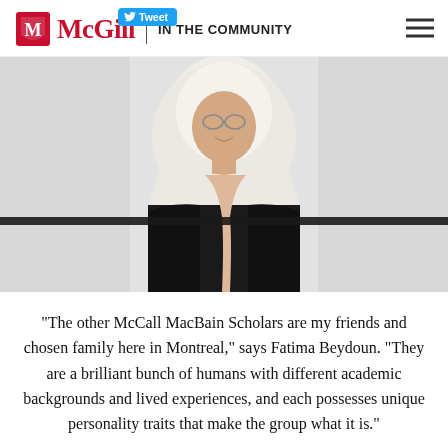McGill | IN THE COMMUNITY
[Figure (photo): Photo of Fatima Beydoun, a woman wearing a white hijab and glasses, smiling, dressed in a black outfit with a light pink/beige scarf. The image appears to be a portrait photo split by the page, with upper body visible.]
“The other McCall MacBain Scholars are my friends and chosen family here in Montreal,” says Fatima Beydoun. “They are a brilliant bunch of humans with different academic backgrounds and lived experiences, and each possesses unique personality traits that make the group what it is.”